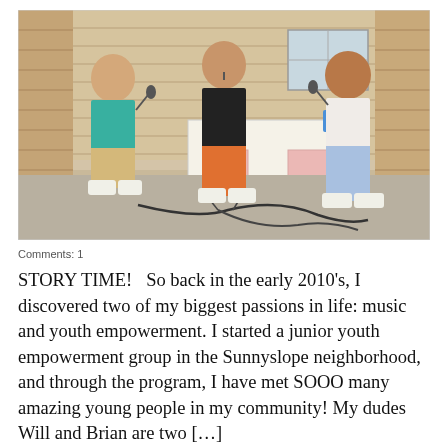[Figure (photo): Three young men standing outdoors near a brick wall, each holding a microphone. A folding table is visible in the background. Microphone cables are on the ground. The men appear to be performing or speaking. Left man wears a teal polo and khaki shorts, center man wears a black hoodie and orange pants, right man wears a white t-shirt and ripped jeans.]
Comments: 1
STORY TIME!   So back in the early 2010's, I discovered two of my biggest passions in life: music and youth empowerment. I started a junior youth empowerment group in the Sunnyslope neighborhood, and through the program, I have met SOOO many amazing young people in my community! My dudes Will and Brian are two […]